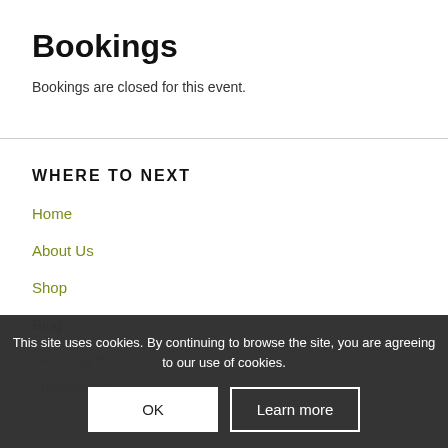Bookings
Bookings are closed for this event.
WHERE TO NEXT
Home
About Us
Shop
Blog
Printing Blog
Ramblings
This site uses cookies. By continuing to browse the site, you are agreeing to our use of cookies.